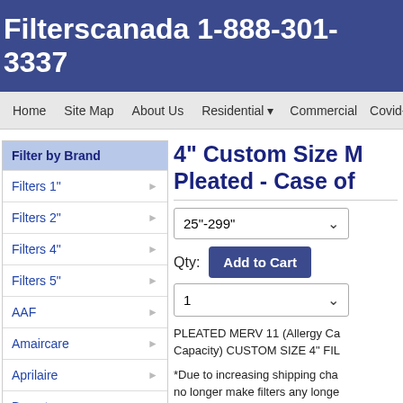Filterscanada 1-888-301-3337
Home  Site Map  About Us  Residential  Commercial  Covid-19 I
Filter by Brand
Filters 1"
Filters 2"
Filters 4"
Filters 5"
AAF
Amaircare
Aprilaire
Bryant
Carrier
Fantech
4" Custom Size M Pleated - Case of
25"-299"
Qty:
Add to Cart
1
PLEATED MERV 11 (Allergy Ca Capacity) CUSTOM SIZE 4" FIL
*Due to increasing shipping cha no longer make filters any longe longer length please consider ha